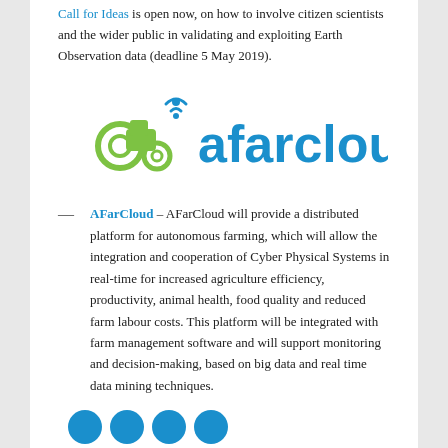Call for Ideas is open now, on how to involve citizen scientists and the wider public in validating and exploiting Earth Observation data (deadline 5 May 2019).
[Figure (logo): AFarCloud logo: green tractor icon with wifi symbol and blue 'afarcloud' text]
AFarCloud – AFarCloud will provide a distributed platform for autonomous farming, which will allow the integration and cooperation of Cyber Physical Systems in real-time for increased agriculture efficiency, productivity, animal health, food quality and reduced farm labour costs. This platform will be integrated with farm management software and will support monitoring and decision-making, based on big data and real time data mining techniques.
[Figure (other): Four blue social media icon circles at bottom of page]